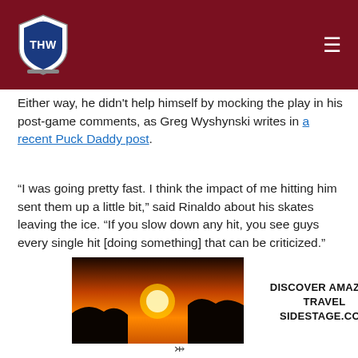THW (The Hockey Writers) navigation header
Either way, he didn't help himself by mocking the play in his post-game comments, as Greg Wyshynski writes in a recent Puck Daddy post.
“I was going pretty fast. I think the impact of me hitting him sent them up a little bit,” said Rinaldo about his skates leaving the ice. “If you slow down any hit, you see guys every single hit [doing something] that can be criticized.”
[Figure (infographic): Advertisement banner: Discover Amazing Travel - Sidestage.com, with sunset/silhouette landscape images on left and right sides]